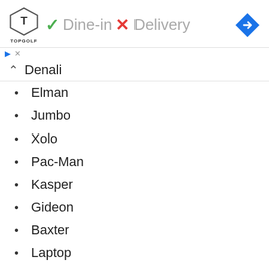Dine-in  Delivery
Denali
Elman
Jumbo
Xolo
Pac-Man
Kasper
Gideon
Baxter
Laptop
CHEE CHEE
Duchess